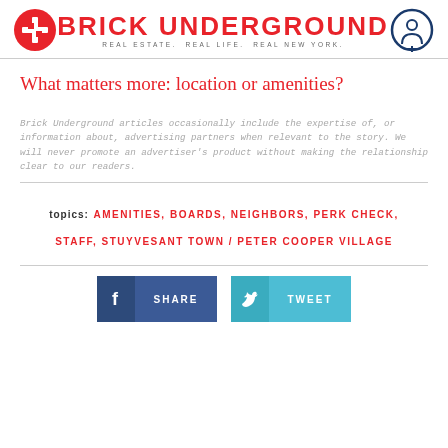BRICK UNDERGROUND — REAL ESTATE. REAL LIFE. REAL NEW YORK.
What matters more: location or amenities?
Brick Underground articles occasionally include the expertise of, or information about, advertising partners when relevant to the story. We will never promote an advertiser's product without making the relationship clear to our readers.
topics: AMENITIES, BOARDS, NEIGHBORS, PERK CHECK, STAFF, STUYVESANT TOWN / PETER COOPER VILLAGE